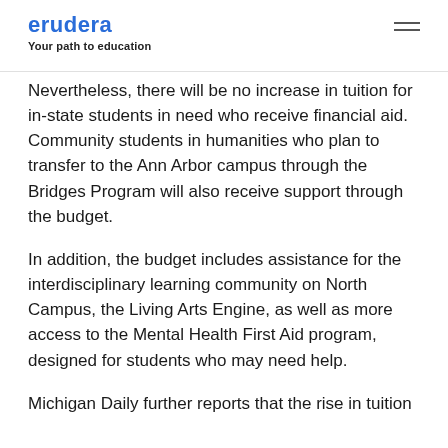erudera — Your path to education
Nevertheless, there will be no increase in tuition for in-state students in need who receive financial aid. Community students in humanities who plan to transfer to the Ann Arbor campus through the Bridges Program will also receive support through the budget.
In addition, the budget includes assistance for the interdisciplinary learning community on North Campus, the Living Arts Engine, as well as more access to the Mental Health First Aid program, designed for students who may need help.
Michigan Daily further reports that the rise in tuition